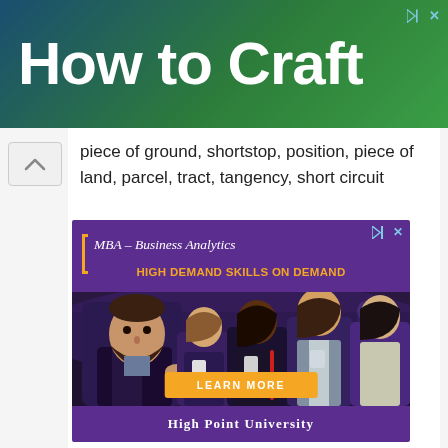How to Craft
piece of ground, shortstop, position, piece of land, parcel, tract, tangency, short circuit
[Figure (photo): Advertisement for High Point University MBA Business Analytics program. Purple background with photo of business professionals networking. Text: MBA – Business Analytics, HIGH DEMAND SKILLS ON DEMAND, LEARN MORE button, HIGH POINT UNIVERSITY]
MBA – Business Analytics | HIGH DEMAND SKILLS ON DEMAND | LEARN MORE | HIGH POINT UNIVERSITY